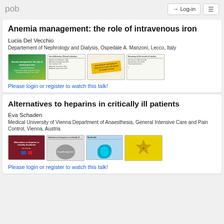pob
Anemia management: the role of intravenous iron
Lucia Del Vecchio
Departement of Nephrology and Dialysis, Ospedale A. Manzoni, Lecco, Italy
[Figure (screenshot): Four slide thumbnails from the presentation on anemia management and intravenous iron]
Please login or register to watch this talk!
Alternatives to heparins in critically ill patients
Eva Schaden
Medical University of Vienna Department of Anaesthesia, General Intensive Care and Pain Control, Vienna, Austria
[Figure (screenshot): Four slide thumbnails from the presentation on alternatives to heparins in critically ill patients]
Please login or register to watch this talk!